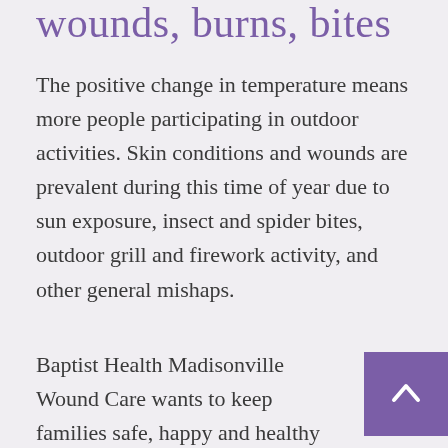wounds, burns, bites
The positive change in temperature means more people participating in outdoor activities. Skin conditions and wounds are prevalent during this time of year due to sun exposure, insect and spider bites, outdoor grill and firework activity, and other general mishaps.
Baptist Health Madisonville Wound Care wants to keep families safe, happy and healthy this summer by